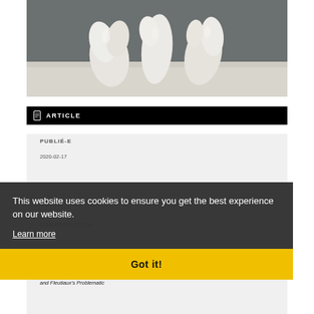[Figure (photo): White abstract sculptural forms on a light-colored pedestal against a gray background]
ARTICLE
PUBLIÉ-E
2020-02-17
This website uses cookies to ensure you get the best experience on our website.
Learn more
Got it!
COMMENT CITER
Bessy, M., & Morris, M. S. (2020). Representing the Twenty-First Century Migrant Experience: Adam and Fleutiaux's Problematic